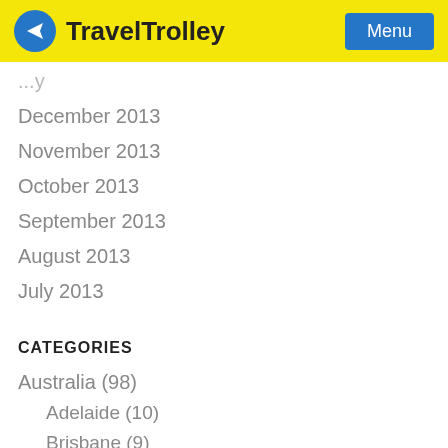Travel Trolley
December 2013
November 2013
October 2013
September 2013
August 2013
July 2013
CATEGORIES
Australia (98)
Adelaide (10)
Brisbane (9)
Melbourne (14)